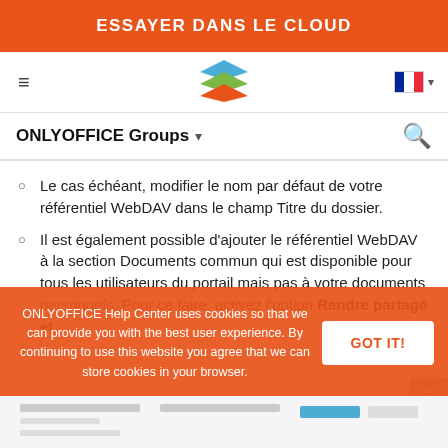ESSAYER DANS LE CLOUD
[Figure (logo): ONLYOFFICE layered logo in blue, green, orange colors]
ONLYOFFICE Groups
Le cas échéant, modifier le nom par défaut de votre référentiel WebDAV dans le champ Titre du dossier.
Il est également possible d'ajouter le référentiel WebDAV à la section Documents commun qui est disponible pour tous les utilisateurs du portail mais pas à votre documents personnels. Pour ce faire, activez l'option Rendre partagé et
ONLYOFFICE Help Center uses cookies so that we can provide you with the best user experience. By continuing to use this website you agree that we can store cookies in your browser.
[Figure (screenshot): Bottom partial screenshot of ONLYOFFICE interface with small UI elements]